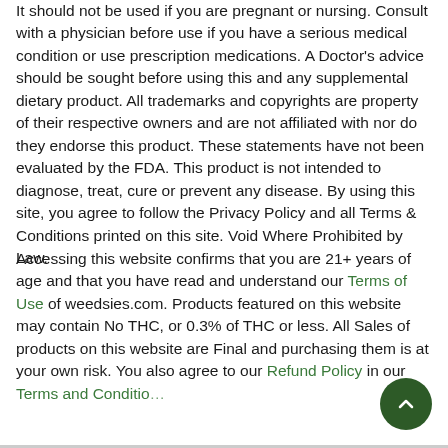It should not be used if you are pregnant or nursing. Consult with a physician before use if you have a serious medical condition or use prescription medications. A Doctor's advice should be sought before using this and any supplemental dietary product. All trademarks and copyrights are property of their respective owners and are not affiliated with nor do they endorse this product. These statements have not been evaluated by the FDA. This product is not intended to diagnose, treat, cure or prevent any disease. By using this site, you agree to follow the Privacy Policy and all Terms & Conditions printed on this site. Void Where Prohibited by Law.
Accessing this website confirms that you are 21+ years of age and that you have read and understand our Terms of Use of weedsies.com. Products featured on this website may contain No THC, or 0.3% of THC or less. All Sales of products on this website are Final and purchasing them is at your own risk. You also agree to our Refund Policy in our Terms and Conditions